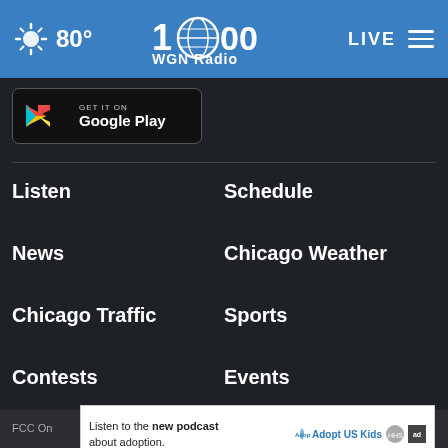80° WGN Radio LIVE
[Figure (screenshot): Google Play store download button with Play triangle logo]
Listen
Schedule
News
Chicago Weather
Chicago Traffic
Sports
Contests
Events
FCC On
Listen to the new podcast about adoption.